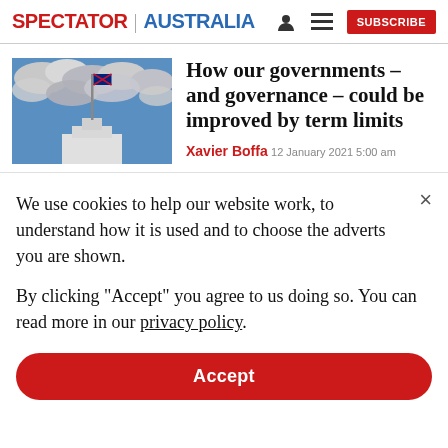SPECTATOR | AUSTRALIA  [user icon] [menu icon] SUBSCRIBE
[Figure (photo): Australian Parliament House flagpole with Australian flag against cloudy blue sky]
How our governments – and governance – could be improved by term limits
Xavier Boffa  12 January 2021 5:00 am
We use cookies to help our website work, to understand how it is used and to choose the adverts you are shown.
By clicking "Accept" you agree to us doing so. You can read more in our privacy policy.
Accept